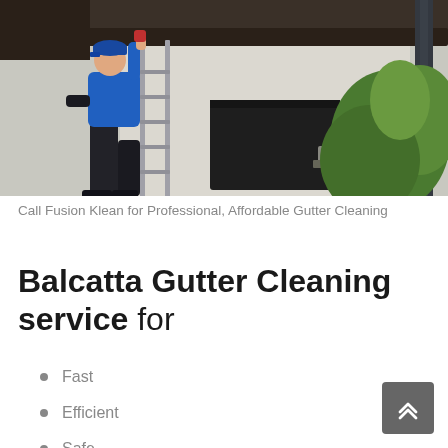[Figure (photo): A worker in a blue shirt and cap standing on a ladder cleaning gutters on a house, with green bushes visible on the right side of the image.]
Call Fusion Klean for Professional, Affordable Gutter Cleaning
Balcatta Gutter Cleaning service for
Fast
Efficient
Safe